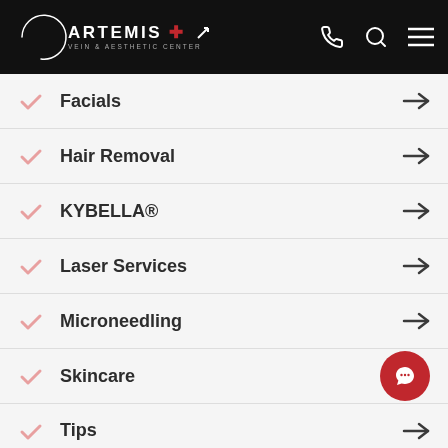Artemis Vein & Aesthetic Center
Facials
Hair Removal
KYBELLA®
Laser Services
Microneedling
Skincare
Tips